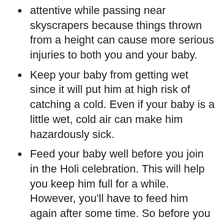attentive while passing near skyscrapers because things thrown from a height can cause more serious injuries to both you and your baby.
Keep your baby from getting wet since it will put him at high risk of catching a cold. Even if your baby is a little wet, cold air can make him hazardously sick.
Feed your baby well before you join in the Holi celebration. This will help you keep him full for a while. However, you'll have to feed him again after some time. So before you get back to breastfeeding again, wash your whole body properly to make sure no colors will get into your breast milk.
To be on the safe side, express enough breast milk in advance and store it safely. Doing so will prove quite beneficial to you, especially in case the color applied to your body takes a few hours to wash off. If such a situation arises, you can